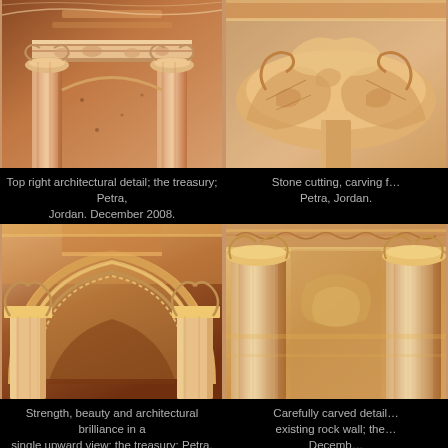[Figure (photo): Top right architectural detail of the treasury at Petra, Jordan. Close-up of carved stone column capital and entablature with ornate decorative carvings. Sepia/warm toned photo.]
Top right architectural detail; the treasury; Petra, Jordan. December 2008.
[Figure (photo): Stone cutting, carving from Petra, Jordan. Close-up of ornate carved stone capital detail with scrolling acanthus leaves. Warm sepia toned photo.]
Stone cutting, carving f… Petra, Jordan.
[Figure (photo): Upward view of the treasury at Petra, Jordan showing arch, columns and ornate architectural carvings. Strength, beauty and architectural brilliance visible in single upward view. Warm sepia toned photo.]
Strength, beauty and architectural brilliance in a single upward view; the treasury; Petra, Jordan. December 2008.
[Figure (photo): Carefully carved detail on existing rock wall at Petra, Jordan. Shows classical column with ornate Corinthian capital against carved stone facade. Warm sepia toned photo.]
Carefully carved detail… existing rock wall; the… Decemb…